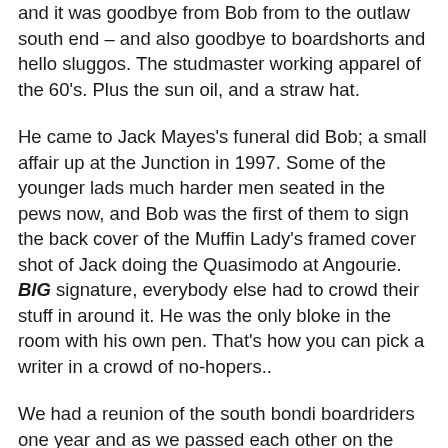and it was goodbye from Bob from to the outlaw south end – and also goodbye to boardshorts and hello sluggos. The studmaster working apparel of the 60's. Plus the sun oil, and a straw hat.
He came to Jack Mayes's funeral did Bob; a small affair up at the Junction in 1997. Some of the younger lads much harder men seated in the pews now, and Bob was the first of them to sign the back cover of the Muffin Lady's framed cover shot of Jack doing the Quasimodo at Angourie. BIG signature, everybody else had to crowd their stuff in around it. He was the only bloke in the room with his own pen. That's how you can pick a writer in a crowd of no-hopers..
We had a reunion of the south bondi boardriders one year and as we passed each other on the stairs at the old Bi...